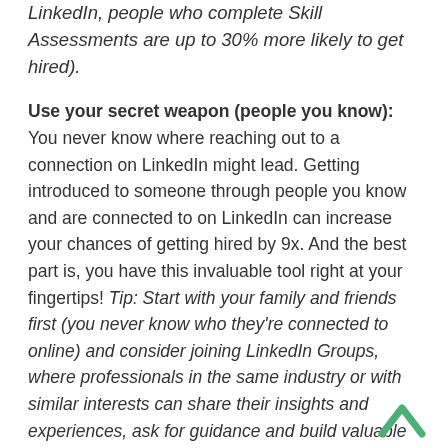LinkedIn, people who complete Skill Assessments are up to 30% more likely to get hired).
Use your secret weapon (people you know): You never know where reaching out to a connection on LinkedIn might lead. Getting introduced to someone through people you know and are connected to on LinkedIn can increase your chances of getting hired by 9x. And the best part is, you have this invaluable tool right at your fingertips! Tip: Start with your family and friends first (you never know who they're connected to online) and consider joining LinkedIn Groups, where professionals in the same industry or with similar interests can share their insights and experiences, ask for guidance and build valuable connections.
Put in the practice: According to LinkedIn, 54% of